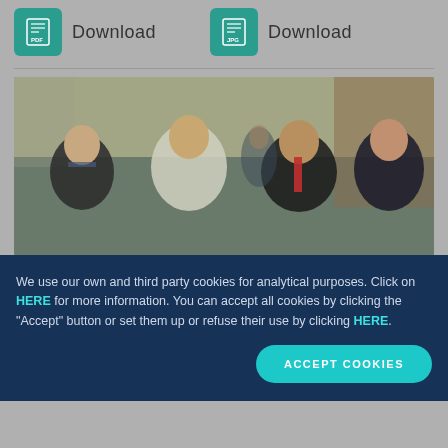[Figure (screenshot): Download buttons for PDF and JPG formats with teal icon boxes and 'Download' labels on a gray background]
[Figure (photo): Group photo of four men in professional attire standing together in an indoor setting]
We use our own and third party cookies for analytical purposes. Click on HERE for more information. You can accept all cookies by clicking the "Accept" button or set them up or refuse their use by clicking HERE.
ACCEPT COOKIES